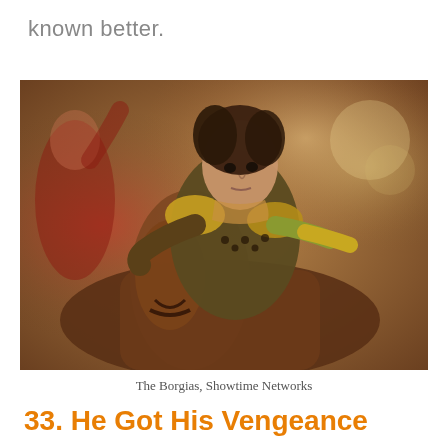known better.
[Figure (photo): A man in medieval armor riding a horse, appearing to be in a jousting or battle scene. The man has dark curly hair and wears gold and brown armor. The background is blurred with warm tones.]
The Borgias, Showtime Networks
33. He Got His Vengeance